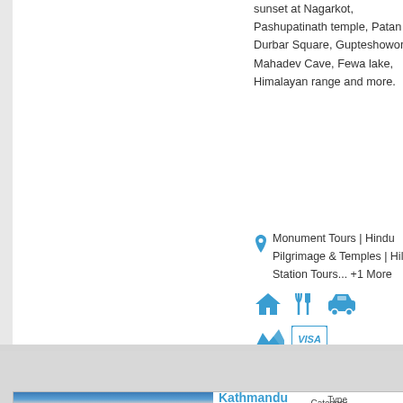sunset at Nagarkot, Pashupatinath temple, Patan Durbar Square, Gupteshowor Mahadev Cave, Fewa lake, Himalayan range and more.
Monument Tours | Hindu Pilgrimage & Temples | Hill Station Tours... +1 More
[Figure (infographic): Row of blue icons: house/accommodation, dining/cutlery, car/transport, mountain/trekking, visa card]
[Figure (photo): Mountain peak with snow against blue sky, likely Himalayan range near Kathmandu/Pokhara]
Kathmandu & Pokhara Tour
Type
Category
From